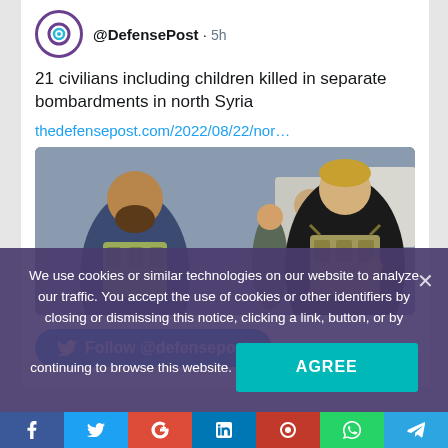@DefensePost · 5h
21 civilians including children killed in separate bombardments in north Syria
thedefensepost.com/2022/08/22/nor…
[Figure (photo): Group of armed soldiers/fighters in tactical gear standing together]
Follow @defensepost
We use cookies or similar technologies on our website to analyze our traffic. You accept the use of cookies or other identifiers by closing or dismissing this notice, clicking a link, button, or by continuing to browse this website.
AGREE